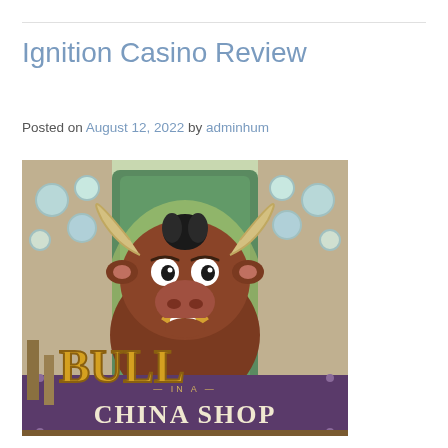Ignition Casino Review
Posted on August 12, 2022 by adminhum
[Figure (illustration): Promotional image for 'Bull in a China Shop' slot game featuring a cartoon bull character with large horns smiling inside a china shop, with the game title displayed at the bottom in stylized gold and purple lettering.]